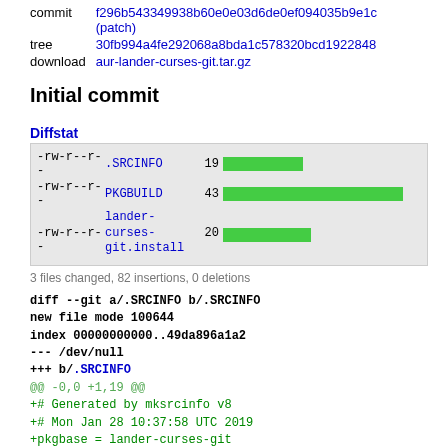| field | value |
| --- | --- |
| commit | f296b543349938b60e0e03d6de0ef094035b9e1c (patch) |
| tree | 30fb994a4fe292068a8bda1c578320bcd1922848 |
| download | aur-lander-curses-git.tar.gz |
Initial commit
Diffstat
[Figure (bar-chart): Diffstat]
3 files changed, 82 insertions, 0 deletions
diff --git a/.SRCINFO b/.SRCINFO
new file mode 100644
index 00000000000..49da896a1a2
--- /dev/null
+++ b/.SRCINFO
@@ -0,0 +1,19 @@
+# Generated by mksrcinfo v8
+# Mon Jan 28 10:37:58 UTC 2019
+pkgbase = lander-curses-git
+        pkgdesc = 1989 curses implementation of the a
+        pkgver = r7.5d74b68